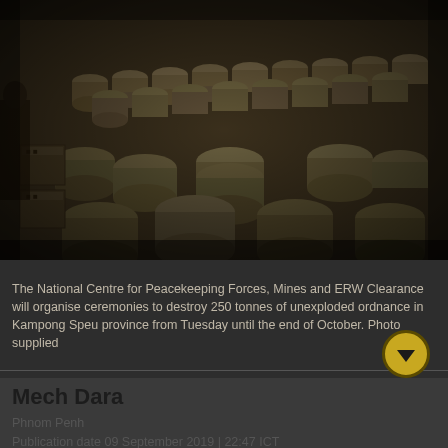[Figure (photo): A dark photograph showing stacked piles of cylindrical unexploded ordnance and landmines, arranged in rows. A person is partially visible on the left side. The items appear to be collected explosive remnants of war, stacked in a warehouse or outdoor storage area.]
The National Centre for Peacekeeping Forces, Mines and ERW Clearance will organise ceremonies to destroy 250 tonnes of unexploded ordnance in Kampong Speu province from Tuesday until the end of October. Photo supplied
Mech Dara
Phnom Penh
Publication date 09 September 2019 | 22:47 ICT